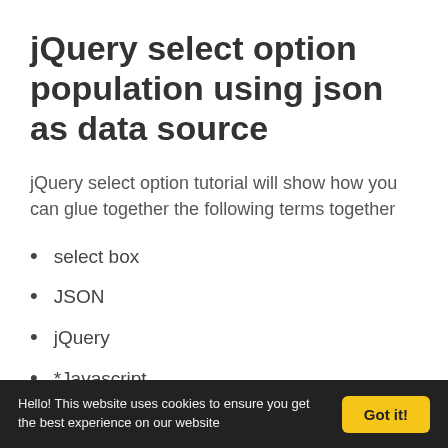jQuery select option population using json as data source
jQuery select option tutorial will show how you can glue together the following terms together
select box
JSON
jQuery
*Javascript
* You might ask isn't jQuery javascript? Yes indeed
Hello! This website uses cookies to ensure you get the best experience on our website